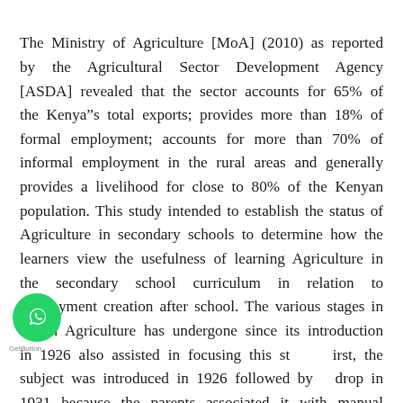The Ministry of Agriculture [MoA] (2010) as reported by the Agricultural Sector Development Agency [ASDA] revealed that the sector accounts for 65% of the Kenya"s total exports; provides more than 18% of formal employment; accounts for more than 70% of informal employment in the rural areas and generally provides a livelihood for close to 80% of the Kenyan population. This study intended to establish the status of Agriculture in secondary schools to determine how the learners view the usefulness of learning Agriculture in the secondary school curriculum in relation to employment creation after school. The various stages in which Agriculture has undergone since its introduction in 1926 also assisted in focusing this study. First, the subject was introduced in 1926 followed by a drop in 1931 because the parents associated it with manual work yet they wanted their children to get white-